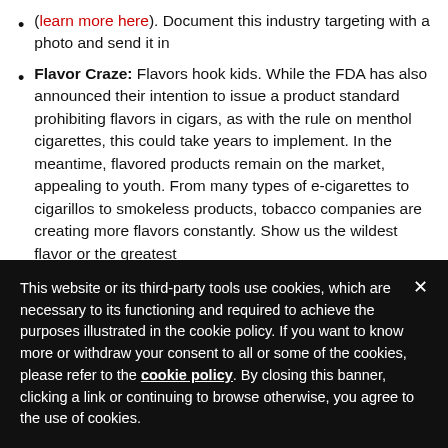(learn more here). Document this industry targeting with a photo and send it in
Flavor Craze: Flavors hook kids. While the FDA has also announced their intention to issue a product standard prohibiting flavors in cigars, as with the rule on menthol cigarettes, this could take years to implement. In the meantime, flavored products remain on the market, appealing to youth. From many types of e-cigarettes to cigarillos to smokeless products, tobacco companies are creating more flavors constantly. Show us the wildest flavor or the greatest
This website or its third-party tools use cookies, which are necessary to its functioning and required to achieve the purposes illustrated in the cookie policy. If you want to know more or withdraw your consent to all or some of the cookies, please refer to the cookie policy. By closing this banner, clicking a link or continuing to browse otherwise, you agree to the use of cookies.